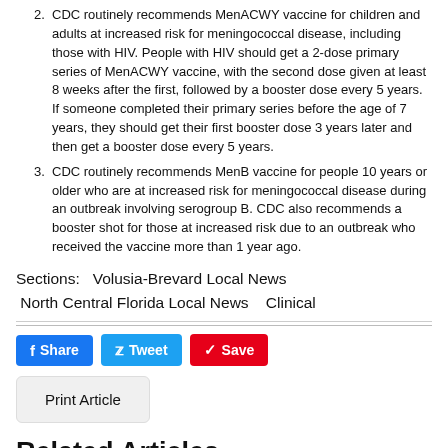CDC routinely recommends MenACWY vaccine for children and adults at increased risk for meningococcal disease, including those with HIV. People with HIV should get a 2-dose primary series of MenACWY vaccine, with the second dose given at least 8 weeks after the first, followed by a booster dose every 5 years. If someone completed their primary series before the age of 7 years, they should get their first booster dose 3 years later and then get a booster dose every 5 years.
CDC routinely recommends MenB vaccine for people 10 years or older who are at increased risk for meningococcal disease during an outbreak involving serogroup B. CDC also recommends a booster shot for those at increased risk due to an outbreak who received the vaccine more than 1 year ago.
Sections:   Volusia-Brevard Local News   North Central Florida Local News    Clinical
Share  Tweet  Save
Print Article
Related Articles